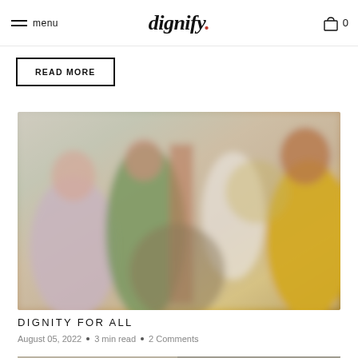menu | dignify. | 0
READ MORE
[Figure (photo): Blurred photo of women in traditional Indian clothing (saris) in various colors including green, yellow/mustard, and pink, gathered together indoors]
DIGNITY FOR ALL
August 05, 2022 • 3 min read • 2 Comments
[Figure (photo): Partial bottom strip of another photo/image, cropped at the bottom of the page]